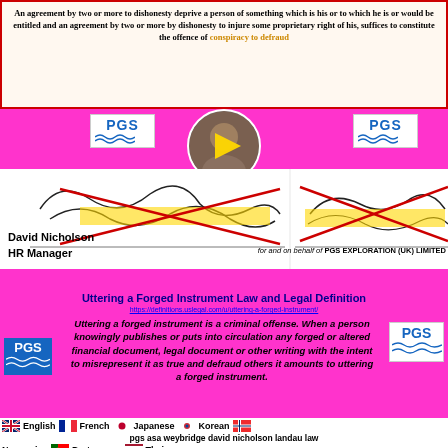An agreement by two or more to dishonesty deprive a person of something which is his or to which he is or would be entitled and an agreement by two or more by dishonesty to injure some proprietary right of his, suffices to constitute the offence of conspiracy to defraud
[Figure (photo): PGS logo (left), circular photo of a person with yellow play button overlay, PGS logo (right), two crossed-out signatures with yellow highlight, labeled David Nicholson HR Manager and for and on behalf of PGS EXPLORATION (UK) LIMITED]
Uttering a Forged Instrument Law and Legal Definition
https://definitions.uslegal.com/u/uttering-a-forged-instrument/
Uttering a forged instrument is a criminal offense. When a person knowingly publishes or puts into circulation any forged or altered financial document, legal document or other writing with the intent to misrepresent it as true and defraud others it amounts to uttering a forged instrument.
English  French  Japanese  Korean  Norwegian  pgs asa weybridge david nicholson landau law  Portuguese  Thai